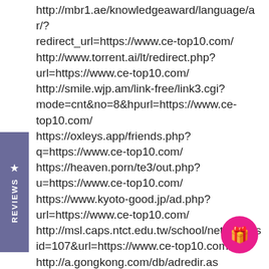http://mbr1.ae/knowledgeaward/language/ar/?redirect_url=https://www.ce-top10.com/ http://www.torrent.ai/lt/redirect.php?url=https://www.ce-top10.com/ http://smile.wjp.am/link-free/link3.cgi?mode=cnt&no=8&hpurl=https://www.ce-top10.com/ https://oxleys.app/friends.php?q=https://www.ce-top10.com/ https://heaven.porn/te3/out.php?u=https://www.ce-top10.com/ https://www.kyoto-good.jp/ad.php?url=https://www.ce-top10.com/ http://msl.caps.ntct.edu.tw/school/netlink/hits?id=107&url=https://www.ce-top10.com/ http://a.gongkong.com/db/adredir.asp?id=16757&url=https://www.ce-top10.com/